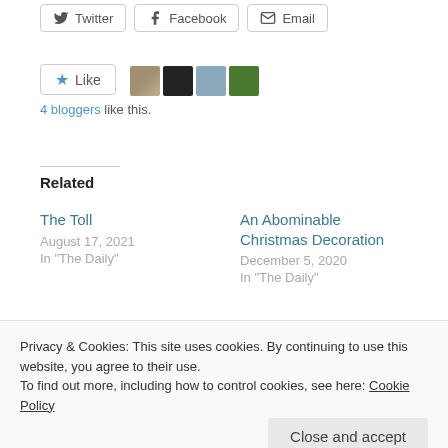Twitter | Facebook | Email (share buttons)
[Figure (other): Like button with star icon and 4 blogger avatar thumbnails]
4 bloggers like this.
Related
The Toll
August 17, 2021
In "The Daily"
An Abominable Christmas Decoration
December 5, 2020
In "The Daily"
She's Gone
Privacy & Cookies: This site uses cookies. By continuing to use this website, you agree to their use.
To find out more, including how to control cookies, see here: Cookie Policy
Close and accept